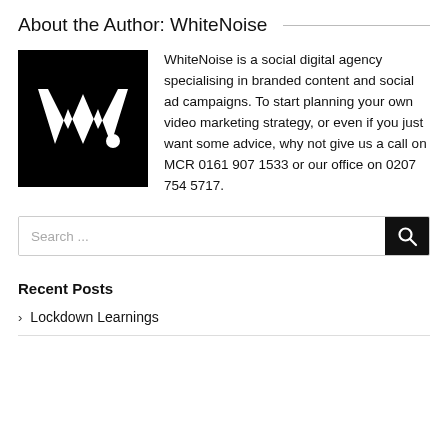About the Author: WhiteNoise
[Figure (logo): Black square logo with white stylized 'w.' text]
WhiteNoise is a social digital agency specialising in branded content and social ad campaigns. To start planning your own video marketing strategy, or even if you just want some advice, why not give us a call on MCR 0161 907 1533 or our office on 0207 754 5717.
Search ...
Recent Posts
Lockdown Learnings